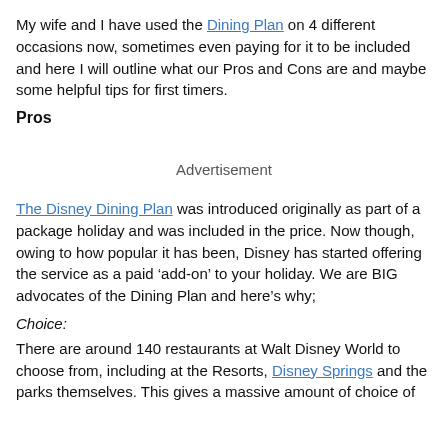My wife and I have used the Dining Plan on 4 different occasions now, sometimes even paying for it to be included and here I will outline what our Pros and Cons are and maybe some helpful tips for first timers.
Pros
Advertisement
The Disney Dining Plan was introduced originally as part of a package holiday and was included in the price. Now though, owing to how popular it has been, Disney has started offering the service as a paid ‘add-on’ to your holiday. We are BIG advocates of the Dining Plan and here’s why;
Choice:
There are around 140 restaurants at Walt Disney World to choose from, including at the Resorts, Disney Springs and the parks themselves. This gives a massive amount of choice of